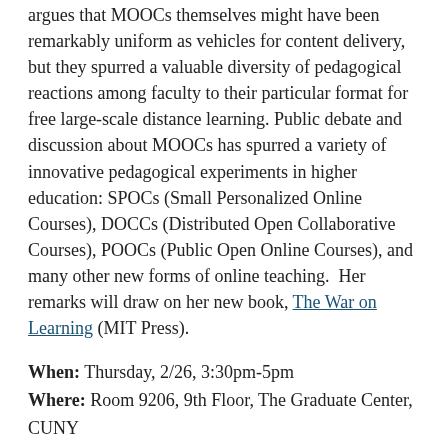argues that MOOCs themselves might have been remarkably uniform as vehicles for content delivery, but they spurred a valuable diversity of pedagogical reactions among faculty to their particular format for free large-scale distance learning. Public debate and discussion about MOOCs has spurred a variety of innovative pedagogical experiments in higher education: SPOCs (Small Personalized Online Courses), DOCCs (Distributed Open Collaborative Courses), POOCs (Public Open Online Courses), and many other new forms of online teaching.  Her remarks will draw on her new book, The War on Learning (MIT Press).
When: Thursday, 2/26, 3:30pm-5pm
Where: Room 9206, 9th Floor, The Graduate Center, CUNY
RSVP: http://bit.ly/1zTUA7K
This entry was posted in Events and tagged Deborah Lupton, free social media events, Liz Losh on February 20, 2015 by Jessie Daniels.